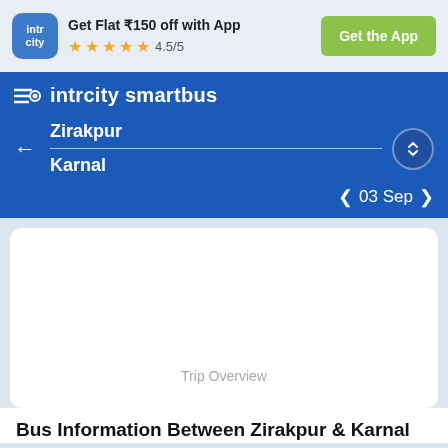[Figure (screenshot): IntrCity app banner with logo, rating stars 4.5/5, and Get the App button]
Get Flat ₹150 off with App
4.5/5
Get the App
[Figure (screenshot): IntrCity SmartBus navigation header with route Zirakpur to Karnal and date 03 Sep]
intrcity smartbus
Zirakpur
Karnal
03 Sep
Trip Overview
Bus Information Between Zirakpur & Karnal